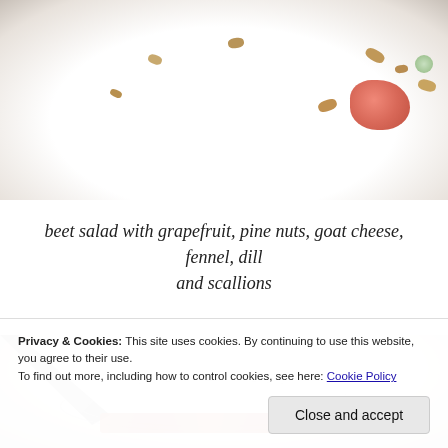[Figure (photo): Top portion of a white plate with beet salad ingredients: pine nuts, grapefruit segment, fennel, viewed from above on white background]
beet salad with grapefruit, pine nuts, goat cheese, fennel, dill and scallions
[Figure (photo): Close-up of a white bowl or plate with a spoon, liquid, and red garnish (saffron or similar)]
Privacy & Cookies: This site uses cookies. By continuing to use this website, you agree to their use.
To find out more, including how to control cookies, see here: Cookie Policy
Close and accept